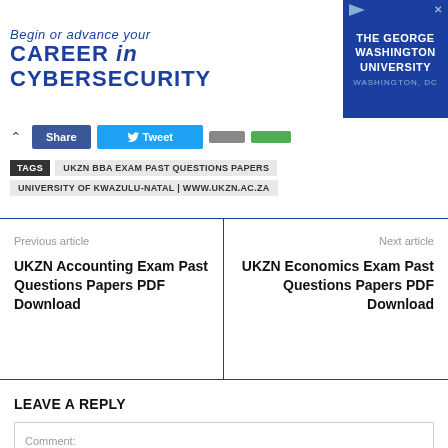[Figure (other): Advertisement banner for The George Washington University: 'Begin or advance your CAREER in CYBERSECURITY', Washington, DC]
Share  Tweet
TAGS  UKZN BBA EXAM PAST QUESTIONS PAPERS  UNIVERSITY OF KWAZULU-NATAL | WWW.UKZN.AC.ZA
Previous article
UKZN Accounting Exam Past Questions Papers PDF Download
Next article
UKZN Economics Exam Past Questions Papers PDF Download
LEAVE A REPLY
Comment: